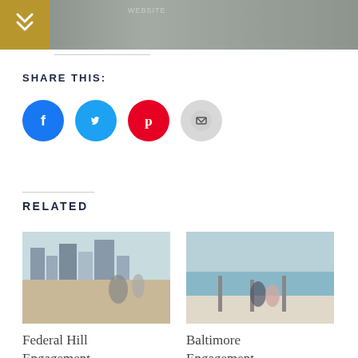[Figure (photo): Top partial image of people, cropped at top of page]
[Figure (logo): Gold box with white double down-arrow chevron icon]
SHARE THIS:
[Figure (infographic): Four social share icon circles: Facebook (blue), Twitter (cyan), Pinterest (red), Email (gray)]
RELATED
[Figure (photo): Federal Hill engagement photo - couple at waterfront with city skyline]
Federal Hill Engagement
[Figure (photo): Baltimore engagement photo - couple on dock by waterfront]
Baltimore Engagement